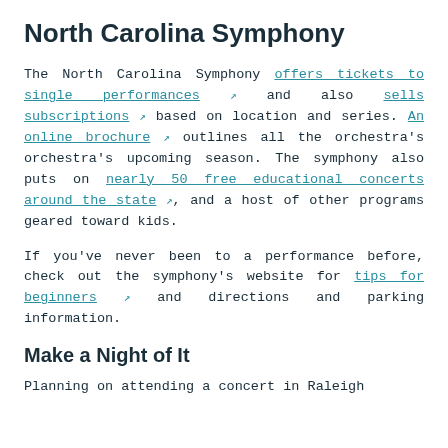North Carolina Symphony
The North Carolina Symphony offers tickets to single performances and also sells subscriptions based on location and series. An online brochure outlines all the orchestra's orchestra's upcoming season. The symphony also puts on nearly 50 free educational concerts around the state, and a host of other programs geared toward kids.
If you've never been to a performance before, check out the symphony's website for tips for beginners and directions and parking information.
Make a Night of It
Planning on attending a concert in Raleigh